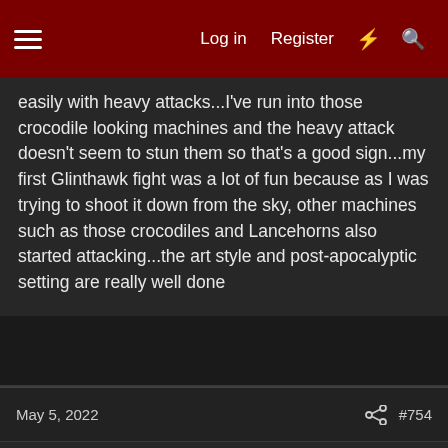Log in  Register
easily with heavy attacks...I've run into those crocodile looking machines and the heavy attack doesn't seem to stun them so that's a good sign...my first Glinthawk fight was a lot of fun because as I was trying to shoot it down from the sky, other machines such as those crocodiles and Lancehorns also started attacking...the art style and post-apocalyptic setting are really well done
May 5, 2022   #754
Flogger23m
[H]F Junkie
polonyc2 said:
I don't want the game to become too easy so hopefully the really large machines won't be able to be knocked down so easily with heavy attacks...I've run into those crocodile looking machines and the heavy attack doesn't seem to stun them so that's a good sign...my first Glinthawk fight was a lot of fun because as I was